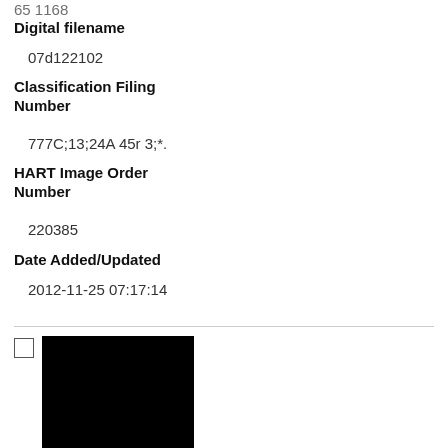Digital filename
07d122102
Classification Filing Number
777C;13;24A 45r 3;*.
HART Image Order Number
220385
Date Added/Updated
2012-11-25 07:17:14
[Figure (photo): Black thumbnail image of a document or photograph]